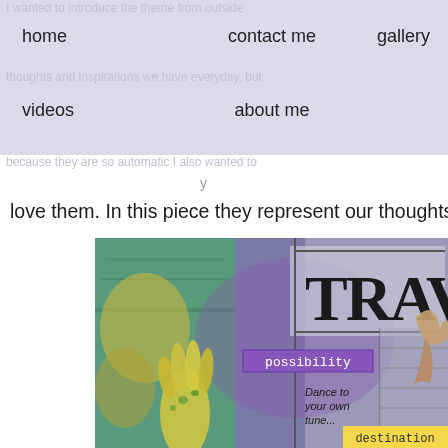home   contact me   gallery
videos   about me
love them. In this piece they represent our thoughts
[Figure (photo): Close-up of a mixed media art piece featuring the word TRAV (travel partially cropped), a purple label reading 'possibility', text reading 'Dance to your own tune...', a yellow label reading 'destination', colorful painted background in teal, purple, yellow and green, with illustrated hands and a bird figure.]